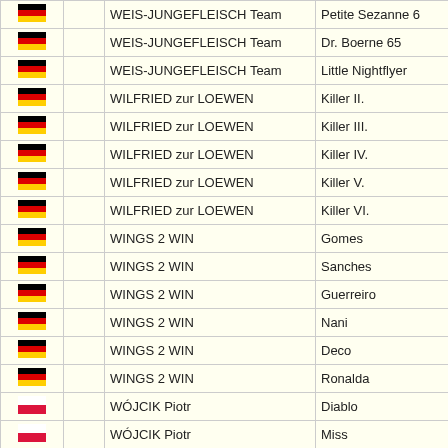| Flag |  | Owner | Dog |
| --- | --- | --- | --- |
| DE |  | WEIS-JUNGEFLEISCH Team | Petite Sezanne 6 |
| DE |  | WEIS-JUNGEFLEISCH Team | Dr. Boerne 65 |
| DE |  | WEIS-JUNGEFLEISCH Team | Little Nightflyer |
| DE |  | WILFRIED zur LOEWEN | Killer II. |
| DE |  | WILFRIED zur LOEWEN | Killer III. |
| DE |  | WILFRIED zur LOEWEN | Killer IV. |
| DE |  | WILFRIED zur LOEWEN | Killer V. |
| DE |  | WILFRIED zur LOEWEN | Killer VI. |
| DE |  | WINGS 2 WIN | Gomes |
| DE |  | WINGS 2 WIN | Sanches |
| DE |  | WINGS 2 WIN | Guerreiro |
| DE |  | WINGS 2 WIN | Nani |
| DE |  | WINGS 2 WIN | Deco |
| DE |  | WINGS 2 WIN | Ronalda |
| PL |  | WÓJCIK Piotr | Diablo |
| PL |  | WÓJCIK Piotr | Miss |
| DE |  | WOLTERINK Gerald | Gerald 569 |
| DE |  | WOLTERINK Gerald | Gerald 573 |
| DE |  | WOLTERINK Gerald | Gerald 576 |